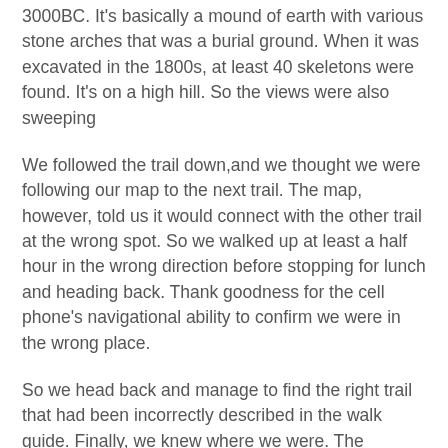3000BC. It's basically a mound of earth with various stone arches that was a burial ground. When it was excavated in the 1800s, at least 40 skeletons were found. It's on a high hill. So the views were also sweeping
We followed the trail down,and we thought we were following our map to the next trail. The map, however, told us it would connect with the other trail at the wrong spot. So we walked up at least a half hour in the wrong direction before stopping for lunch and heading back. Thank goodness for the cell phone's navigational ability to confirm we were in the wrong place.
So we head back and manage to find the right trail that had been incorrectly described in the walk guide. Finally, we knew where we were. The problem was that trail markers disappeared, and we were left to just read the descriptive text on our map and keep our fingers crossed.
We reached the path to the Spoonley Roman Villa mosaic, and it wandered through thick, muddy trail. Just when we were about to head back, we saw something. Hidden